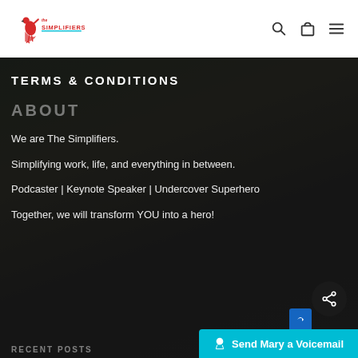[Figure (logo): The Simplifiers logo - red flamingo figure with red and teal text]
[Figure (infographic): Navigation icons: search magnifying glass, shopping bag, and hamburger menu]
TERMS & CONDITIONS
ABOUT
We are The Simplifiers.
Simplifying work, life, and everything in between.
Podcaster | Keynote Speaker | Undercover Superhero
Together, we will transform YOU into a hero!
RECENT POSTS